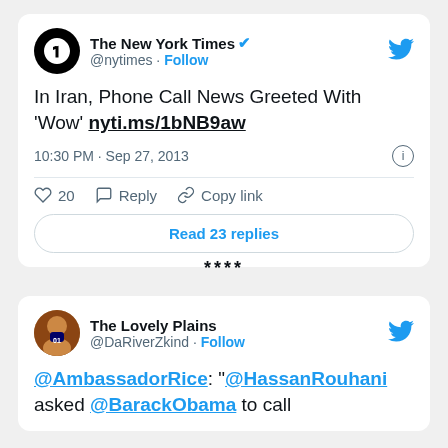[Figure (screenshot): Tweet from The New York Times (@nytimes) with verified badge, dated 10:30 PM Sep 27, 2013. Tweet text: In Iran, Phone Call News Greeted With ‘Wow’ nyti.ms/1bNB9aw. Shows 20 likes, Reply, Copy link actions, and Read 23 replies button.]
****
[Figure (screenshot): Tweet from The Lovely Plains (@DaRiverZkind) with Follow link. Tweet text: @AmbassadorRice: "@HassanRouhani asked @BarackObama to call (text cut off)]